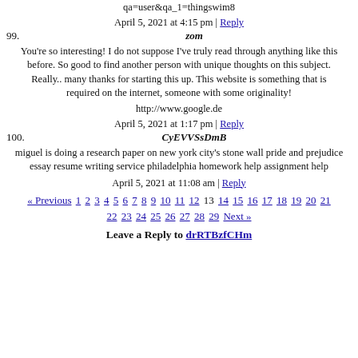qa=user&qa_1=thingswim8
April 5, 2021 at 4:15 pm | Reply
99. zom
You're so interesting! I do not suppose I've truly read through anything like this before. So good to find another person with unique thoughts on this subject. Really.. many thanks for starting this up. This website is something that is required on the internet, someone with some originality!
http://www.google.de
April 5, 2021 at 1:17 pm | Reply
100. CyEVVSsDmB
miguel is doing a research paper on new york city's stone wall pride and prejudice essay resume writing service philadelphia homework help assignment help
April 5, 2021 at 11:08 am | Reply
« Previous 1 2 3 4 5 6 7 8 9 10 11 12 13 14 15 16 17 18 19 20 21 22 23 24 25 26 27 28 29 Next »
Leave a Reply to drRTBzfCHm